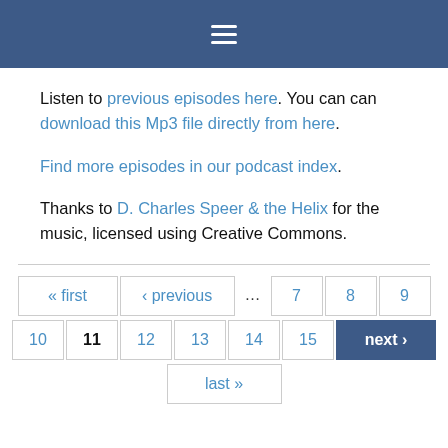≡ (hamburger menu icon)
Listen to previous episodes here. You can can download this Mp3 file directly from here.
Find more episodes in our podcast index.
Thanks to D. Charles Speer & the Helix for the music, licensed using Creative Commons.
« first ‹ previous … 7 8 9 10 11 12 13 14 15 next › last »